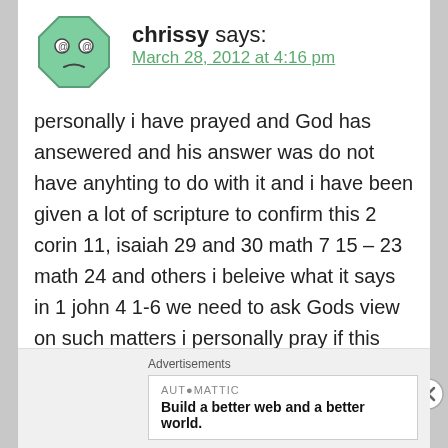[Figure (illustration): Avatar icon of a cartoon face on a teal octagon shape]
chrissy says:
March 28, 2012 at 4:16 pm
personally i have prayed and God has ansewered and his answer was do not have anyhting to do with it and i have been given a lot of scripture to confirm this 2 corin 11, isaiah 29 and 30 math 7 15 – 23 math 24 and others i beleive what it says in 1 john 4 1-6 we need to ask Gods view on such matters i personally pray if this isnt of you then let it pass over me chrissy
Advertisements
AUTOMATTIC
Build a better web and a better world.